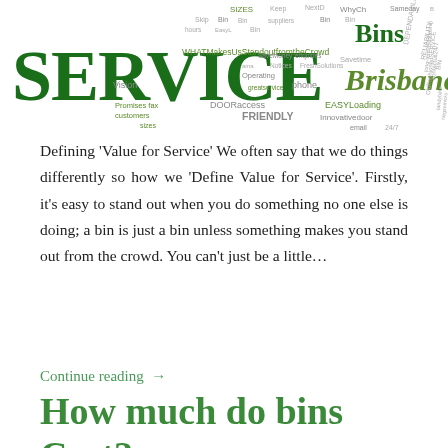[Figure (infographic): Word cloud with terms related to bin/service business in Brisbane. Large text 'SERVICE' in dark green dominates left side. Words include: Bins, Brisbane, SIZES, Sameday, FRIENDLY, EASYLoading, DOORaccess, Innovativedoor, DEPENDABILITY, RELIABILITY, WHATMakesUsStandoutfromtheCrowd, SaveMoney, Savetime, Promises, fax, customers, sizes, phone, Vision, Operating, greatservice, enquiries, Notices, FreshSolutions, contactus247, long-termrelationship, OldFashionedSERVICE, landybins, Nogimmicks, NextDay, WhyCh, Bin, suppliers, Skip, EasyL, hours, business, Keep, email, 24/7, maintain]
Defining ‘Value for Service’ We often say that we do things differently so how we ‘Define Value for Service’. Firstly, it’s easy to stand out when you do something no one else is doing; a bin is just a bin unless something makes you stand out from the crowd. You can’t just be a little…
Continue reading →
How much do bins Cost?